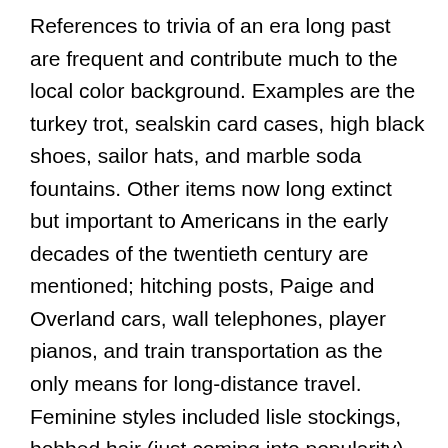References to trivia of an era long past are frequent and contribute much to the local color background. Examples are the turkey trot, sealskin card cases, high black shoes, sailor hats, and marble soda fountains. Other items now long extinct but important to Americans in the early decades of the twentieth century are mentioned; hitching posts, Paige and Overland cars, wall telephones, player pianos, and train transportation as the only means for long-distance travel. Feminine styles included lisle stockings, bobbed hair (just coming into popularity), ox-blood oxfords, ankle-length skirts, and a net frock with pale pink lining. Cigarette smoking and beer drinking by women were frowned on by conservatives of both sexes. So was the woman suffrage movement. Bill Hart was a favorite actor in the silent movies, and Chautauqua programs brought talent to the provinces. The automobile, the telephone, and rural free delivery had but recently begun to increase opportunities for transportation and communication.